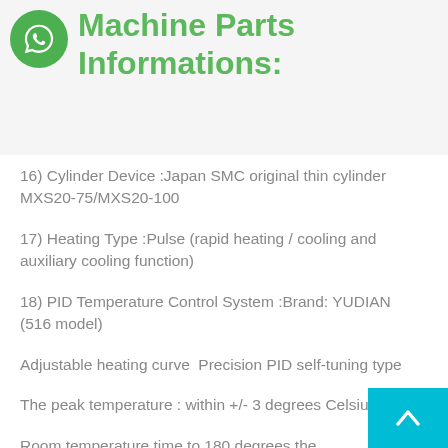Machine Parts Informations:
16) Cylinder Device :Japan SMC original thin cylinder  MXS20-75/MXS20-100
17) Heating Type :Pulse (rapid heating / cooling and auxiliary cooling function)
18) PID Temperature Control System :Brand: YUDIAN  (516 model)
Adjustable heating curve  Precision PID self-tuning type
The peak temperature : within +/- 3 degrees Celsius
Room temperature time to 180 degrees the response time within 2.2 seconds